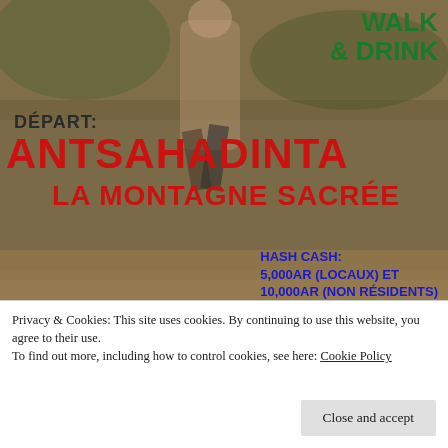[Figure (photo): Background photo of hikers/runners on a trail in a forested/rocky outdoor setting, partially obscured by colored text overlays.]
WALK & DRINK
DÉPART:
ANTSAHADINTA
LA MONTAGNE SACRÉE
HASH CASH:
5,000AR (LOCAUX) ET
10,000AR (NON RÉSIDENTS)
Vous voulez y participer?
RENDEZ-VOUS
COVOITURAGE À 6H30
DIMANCHE 27 FEV
Privacy & Cookies: This site uses cookies. By continuing to use this website, you agree to their use.
To find out more, including how to control cookies, see here: Cookie Policy
Close and accept